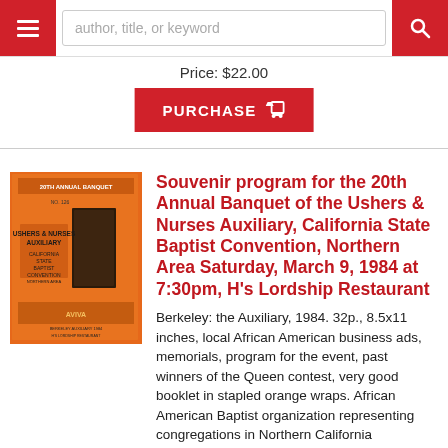author, title, or keyword
Price: $22.00
PURCHASE
[Figure (photo): Orange cover of souvenir program booklet for Ushers & Nurses Auxiliary, California State Baptist Convention]
Souvenir program for the 20th Annual Banquet of the Ushers & Nurses Auxiliary, California State Baptist Convention, Northern Area Saturday, March 9, 1984 at 7:30pm, H's Lordship Restaurant
Berkeley: the Auxiliary, 1984. 32p., 8.5x11 inches, local African American business ads, memorials, program for the event, past winners of the Queen contest, very good booklet in stapled orange wraps. African American Baptist organization representing congregations in Northern California